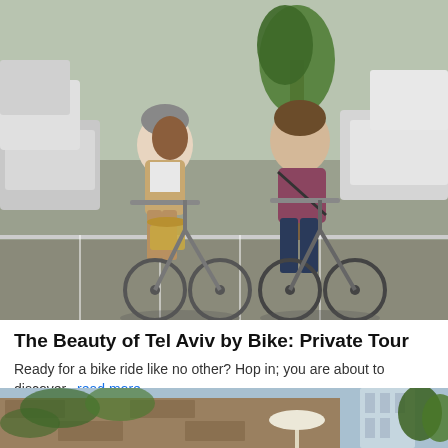[Figure (photo): Two cyclists riding bikes in a parking lot area with cars parked in the background. A woman with a helmet and basket bike, a man in a burgundy shirt riding beside her.]
The Beauty of Tel Aviv by Bike: Private Tour
Ready for a bike ride like no other? Hop in; you are about to discover...read more
Taking safety measures
from US$127.30
[Figure (photo): An old stone building covered with ivy and greenery, with a modern glass tower visible in the background and a white umbrella patio area to the right.]